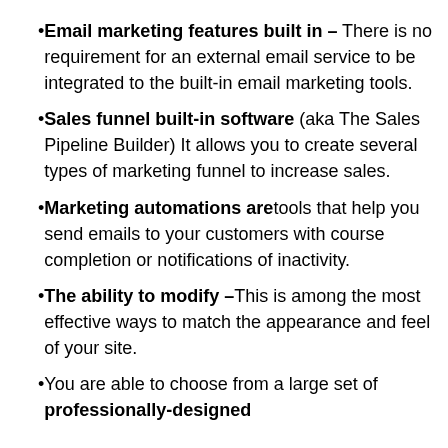Email marketing features built in – There is no requirement for an external email service to be integrated to the built-in email marketing tools.
Sales funnel built-in software (aka The Sales Pipeline Builder) It allows you to create several types of marketing funnel to increase sales.
Marketing automations are tools that help you send emails to your customers with course completion or notifications of inactivity.
The ability to modify –This is among the most effective ways to match the appearance and feel of your site.
You are able to choose from a large set of professionally-designed